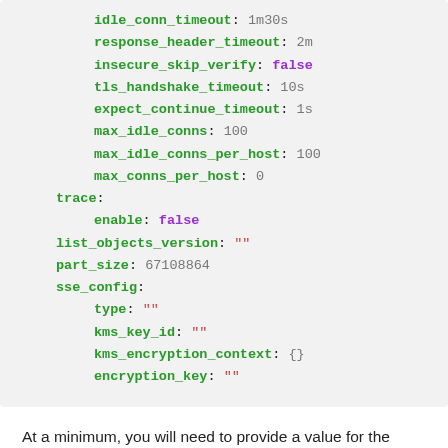[Figure (screenshot): Code block showing YAML configuration with keys: idle_conn_timeout, response_header_timeout, insecure_skip_verify, tls_handshake_timeout, expect_continue_timeout, max_idle_conns, max_idle_conns_per_host, max_conns_per_host, trace (with enable: false), list_objects_version, part_size, sse_config (with type, kms_key_id, kms_encryption_context, encryption_key)]
At a minimum, you will need to provide a value for the bucket, endpoint, access_key, and secret_key keys. The rest of the keys are optional.